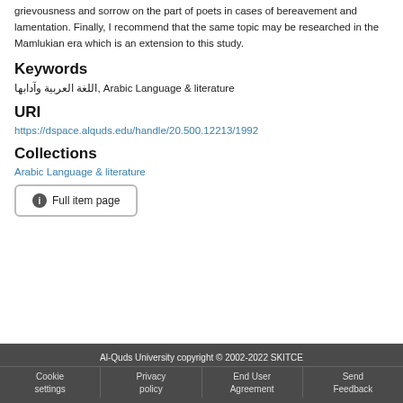grievousness and sorrow on the part of poets in cases of bereavement and lamentation. Finally, I recommend that the same topic may be researched in the Mamlukian era which is an extension to this study.
Keywords
اللغة العربية وآدابها, Arabic Language & literature
URI
https://dspace.alquds.edu/handle/20.500.12213/1992
Collections
Arabic Language & literature
Full item page
Al-Quds University copyright © 2002-2022 SKITCE
Cookie settings | Privacy policy | End User Agreement | Send Feedback